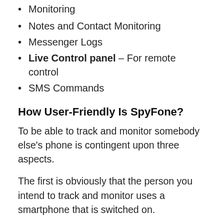Monitoring
Notes and Contact Monitoring
Messenger Logs
Live Control panel – For remote control
SMS Commands
How User-Friendly Is SpyFone?
To be able to track and monitor somebody else's phone is contingent upon three aspects.
The first is obviously that the person you intend to track and monitor uses a smartphone that is switched on.
The second is not so obvious. The phone should not be on airplane mode, which switches off GPS.